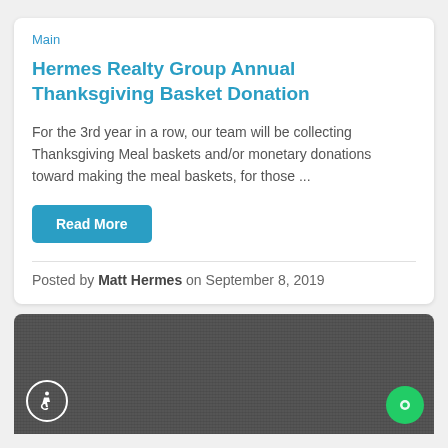Main
Hermes Realty Group Annual Thanksgiving Basket Donation
For the 3rd year in a row, our team will be collecting Thanksgiving Meal baskets and/or monetary donations toward making the meal baskets, for those ...
Read More
Posted by Matt Hermes on September 8, 2019
[Figure (photo): Dark gray textured background section with an accessibility icon (wheelchair user in circle) at bottom left and a green chat bubble icon at bottom right]